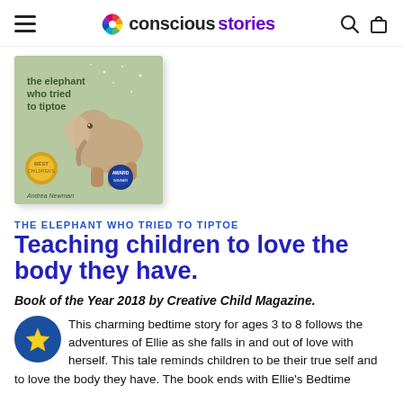conscious stories — navigation header
[Figure (photo): Book cover of 'The Elephant Who Tried to Tiptoe' by Andrea Newman, showing a cartoon elephant illustration on a light green background, with award badges.]
THE ELEPHANT WHO TRIED TO TIPTOE
Teaching children to love the body they have.
Book of the Year 2018 by Creative Child Magazine.
This charming bedtime story for ages 3 to 8 follows the adventures of Ellie as she falls in and out of love with herself. This tale reminds children to be their true self and to love the body they have. The book ends with Ellie's Bedtime